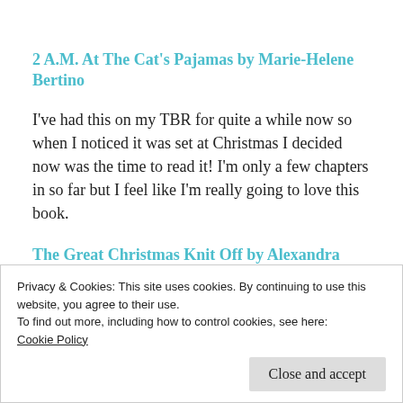2 A.M. At The Cat's Pajamas by Marie-Helene Bertino
I've had this on my TBR for quite a while now so when I noticed it was set at Christmas I decided now was the time to read it! I'm only a few chapters in so far but I feel like I'm really going to love this book.
The Great Christmas Knit Off by Alexandra Brown
Privacy & Cookies: This site uses cookies. By continuing to use this website, you agree to their use.
To find out more, including how to control cookies, see here:
Cookie Policy
Close and accept